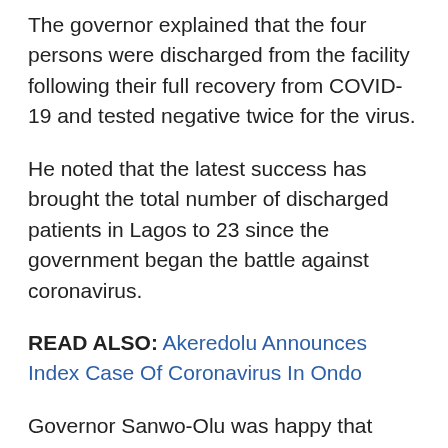The governor explained that the four persons were discharged from the facility following their full recovery from COVID-19 and tested negative twice for the virus.
He noted that the latest success has brought the total number of discharged patients in Lagos to 23 since the government began the battle against coronavirus.
READ ALSO: Akeredolu Announces Index Case Of Coronavirus In Ondo
Governor Sanwo-Olu was happy that despite confirming the highest number of cases in Nigeria, Lagos has yet to record any death from COVID-19.
He thanked the residents of the state for their cooperation, as well as the health workers at the